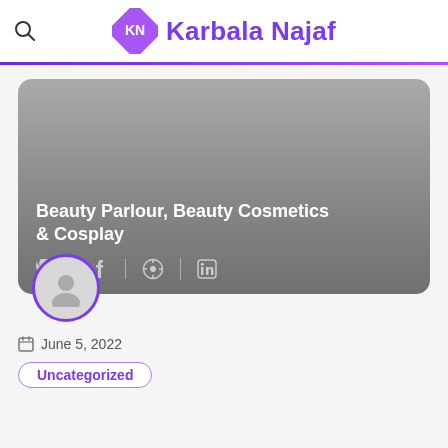Karbala Najaf
[Figure (illustration): Article card with gray gradient background showing title 'Beauty Parlour, Beauty Cosmetics & Cosplay' with social media icons (Twitter, Facebook, Pinterest, LinkedIn) and an avatar circle with purple border at bottom left]
Beauty Parlour, Beauty Cosmetics & Cosplay
June 5, 2022
Uncategorized